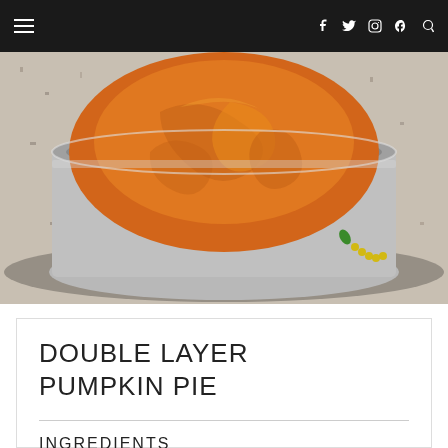≡   f  t  ⊡  ⓟ  🔍
[Figure (photo): A pumpkin pie in a silver foil tin on a granite countertop. The pie filling is orange/pumpkin colored with a swirled surface texture.]
DOUBLE LAYER PUMPKIN PIE
INGREDIENTS